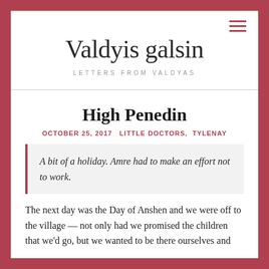Valdyis galsin
LETTERS FROM VALDYAS
High Penedin
OCTOBER 25, 2017   LITTLE DOCTORS,  TYLENAY
A bit of a holiday. Amre had to make an effort not to work.
The next day was the Day of Anshen and we were off to the village — not only had we promised the children that we'd go, but we wanted to be there ourselves and